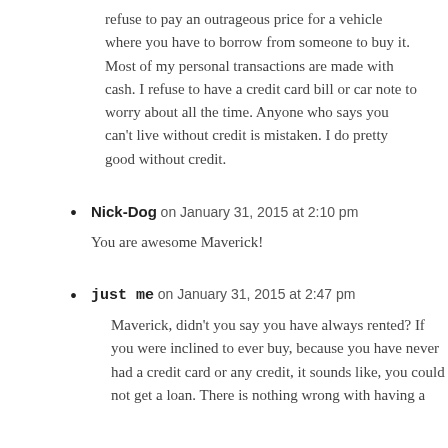refuse to pay an outrageous price for a vehicle where you have to borrow from someone to buy it. Most of my personal transactions are made with cash. I refuse to have a credit card bill or car note to worry about all the time. Anyone who says you can't live without credit is mistaken. I do pretty good without credit.
Nick-Dog on January 31, 2015 at 2:10 pm
You are awesome Maverick!
just me on January 31, 2015 at 2:47 pm
Maverick, didn't you say you have always rented? If you were inclined to ever buy, because you have never had a credit card or any credit, it sounds like, you could not get a loan. There is nothing wrong with having a